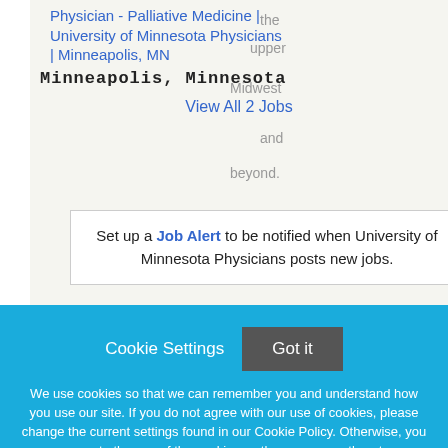Physician - Palliative Medicine | the University of Minnesota Physicians | Minneapolis, MN
Minneapolis, Minnesota
the upper Midwest and beyond.
View All 2 Jobs
our Job Alert to be notified when University of Minnesota Physicians posts new jobs.
Cookie Settings
Got it
We use cookies so that we can remember you and understand how you use our site. If you do not agree with our use of cookies, please change the current settings found in our Cookie Policy. Otherwise, you agree to the use of the cookies as they are currently set.